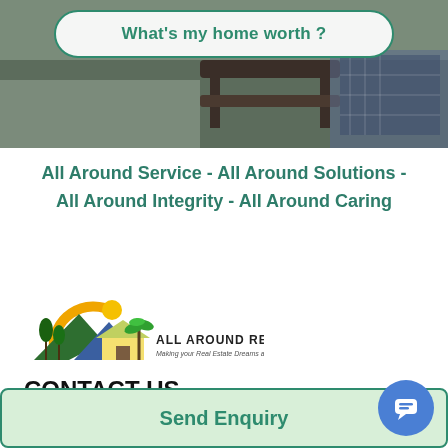[Figure (photo): Top photo section showing a person on outdoor furniture, with a green-tinted overlay]
What's my home worth ?
All Around Service - All Around Solutions - All Around Integrity - All Around Caring
[Figure (logo): All Around Realty logo with house/mountain/sun graphic and tagline 'Making your Real Estate Dreams a Reality']
CONTACT US
Send Enquiry